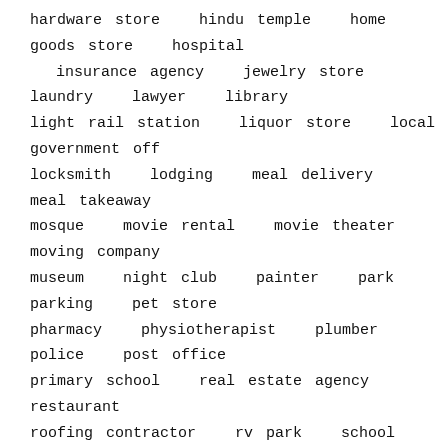hardware store   hindu temple   home goods store   hospital   insurance agency   jewelry store   laundry   lawyer   library   light rail station   liquor store   local government off   locksmith   lodging   meal delivery   meal takeaway   mosque   movie rental   movie theater   moving company   museum   night club   painter   park   parking   pet store   pharmacy   physiotherapist   plumber   police   post office   primary school   real estate agency   restaurant   roofing contractor   rv park   school   secondary school   shoe store   shopping mall   spa   stadium   storage   store   subway station   supermarket   synagogue   taxi stand   tourist attraction   train station   transit station   travel agency   university   veterinary care   zoo